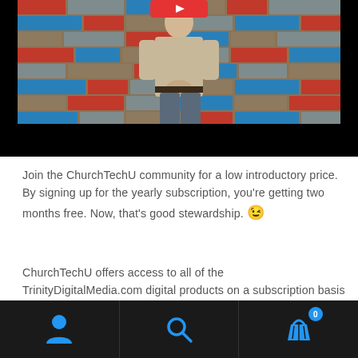[Figure (screenshot): Video thumbnail showing a man in a light beige shirt standing in front of a colorful brick wall background, with a red play button at the top and a black bar at the bottom.]
Join the ChurchTechU community for a low introductory price. By signing up for the yearly subscription, you're getting two months free. Now, that's good stewardship. 😉
ChurchTechU offers access to all of the TrinityDigitalMedia.com digital products on a subscription basis along with the ability to interact with a community
[Figure (screenshot): Mobile navigation bar with three icons: user/person icon, search icon, and shopping basket icon with badge showing 0.]